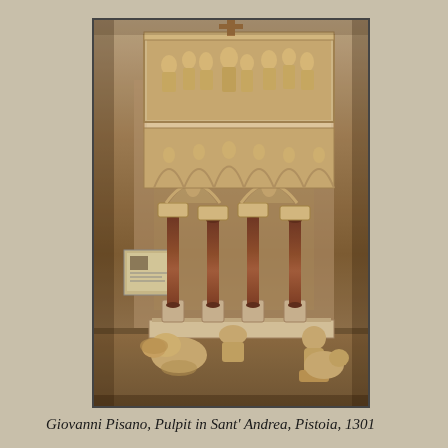[Figure (photo): Photograph of Giovanni Pisano's Pulpit in Sant'Andrea, Pistoia, 1301. The image shows a Gothic marble pulpit elevated on dark reddish-brown columns with carved capitals. The upper portion features elaborate relief sculptures. Below the pulpit platform are Gothic arches. At the base are sculpted figures of lions and a human figure supporting the columns.]
Giovanni Pisano, Pulpit in Sant' Andrea, Pistoia, 1301